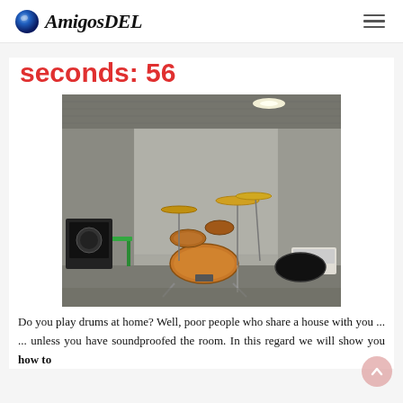AmigosDEL
seconds: 56
[Figure (photo): A soundproofed music room with acoustic foam panels covering all walls and ceiling, containing a drum kit, guitar amplifier, green stool, and other musical equipment on a carpeted floor.]
Do you play drums at home? Well, poor people who share a house with you ... ... unless you have soundproofed the room. In this regard we will show you how to